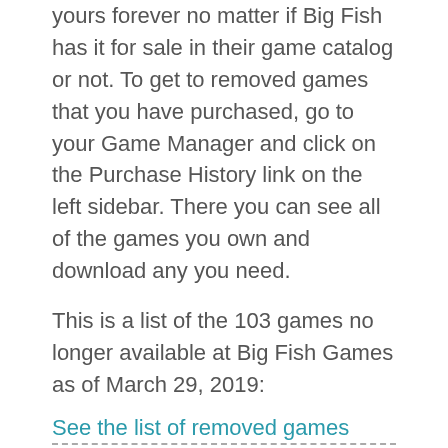yours forever no matter if Big Fish has it for sale in their game catalog or not. To get to removed games that you have purchased, go to your Game Manager and click on the Purchase History link on the left sidebar. There you can see all of the games you own and download any you need.
This is a list of the 103 games no longer available at Big Fish Games as of March 29, 2019:
See the list of removed games
QUICKLINKS:
Big Fish PC Games
Big Fish Mac Games